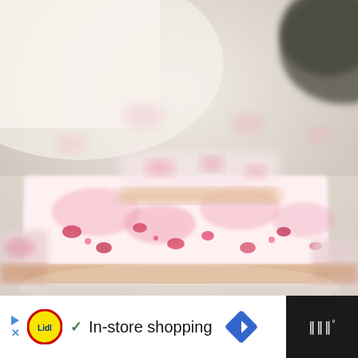[Figure (photo): Close-up photo of pink raspberry cheesecake bars with white cream topping and red berry pieces, arranged on a surface with soft blurred background showing dark cushion and white fabric. Light, airy, pastel pink tones.]
[Figure (screenshot): Advertisement bar at bottom of screen. Dark background on left and right sides. White section in center-left showing: play/ad arrow icon, Lidl circular logo (yellow with red and blue), blue checkmark, text 'In-store shopping', blue diamond navigation arrow icon. Right dark section shows weather app icon with bar chart symbol and degree symbol.]